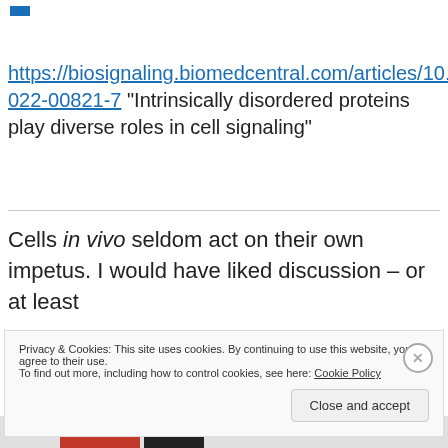https://biosignaling.biomedcentral.com/articles/10.1186/s12964-022-00821-7 "Intrinsically disordered proteins play diverse roles in cell signaling"
Cells in vivo seldom act on their own impetus. I would have liked discussion – or at least
Privacy & Cookies: This site uses cookies. By continuing to use this website, you agree to their use.
To find out more, including how to control cookies, see here: Cookie Policy
Close and accept